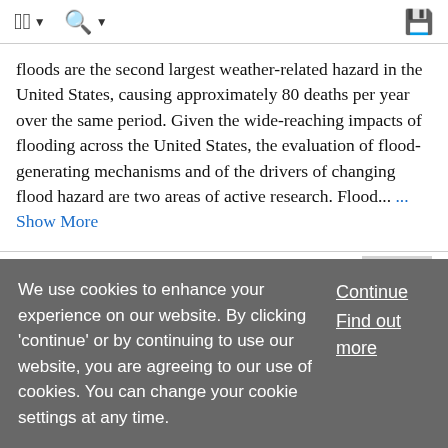⊙ ▼   🔍 ▼   💾
floods are the second largest weather-related hazard in the United States, causing approximately 80 deaths per year over the same period. Given the wide-reaching impacts of flooding across the United States, the evaluation of flood-generating mechanisms and of the drivers of changing flood hazard are two areas of active research. Flood... ... Show More
Article
Collaboration and Cross-Sector Coordination for Humanitarian
We use cookies to enhance your experience on our website. By clicking 'continue' or by continuing to use our website, you are agreeing to our use of cookies. You can change your cookie settings at any time.
Continue
Find out more